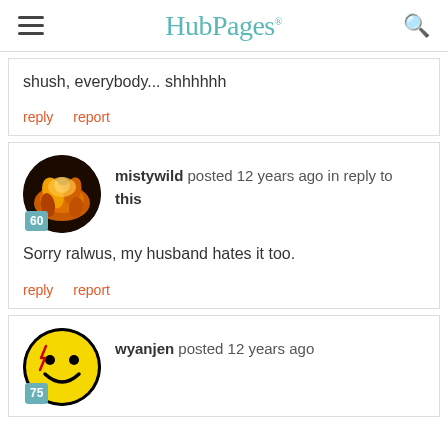HubPages
shush, everybody... shhhhhh
reply   report
mistywild posted 12 years ago in reply to this
Sorry ralwus, my husband hates it too.
reply   report
wyanjen posted 12 years ago